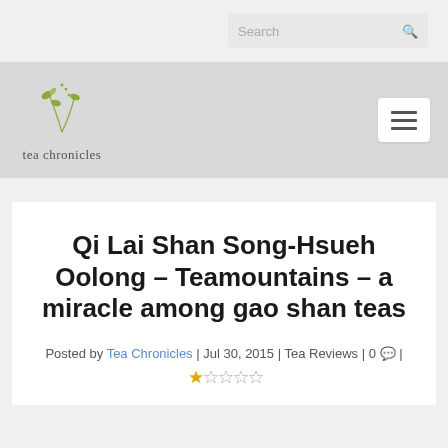Search
[Figure (logo): Tea Chronicles logo with leaf illustrations and text 'tea chronicles']
Qi Lai Shan Song-Hsueh Oolong – Teamountains – a miracle among gao shan teas
Posted by Tea Chronicles | Jul 30, 2015 | Tea Reviews | 0 💬 | ☆☆☆☆☆